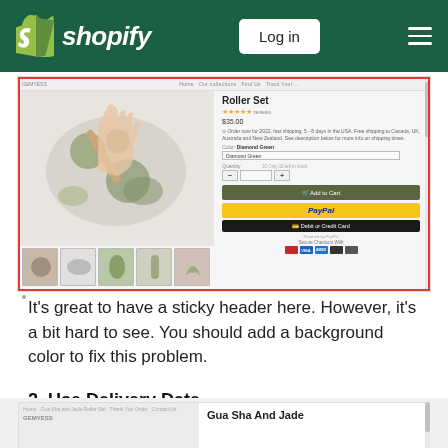Shopify — Log in
[Figure (screenshot): Screenshot of a Shopify product page showing a Jade Roller Set product with product images, price, color selector, quantity, Add to Cart button, PayPal button, Debit or Credit Card button, and payment icons. A red border highlights the sticky header area.]
It's great to have a sticky header here. However, it's a bit hard to see. You should add a background color to fix this problem.
2. Use Delivery Date
[Figure (screenshot): Partial screenshot of a Shopify store page showing the bottom of the page with 'Gua Sha And Jade' text visible.]